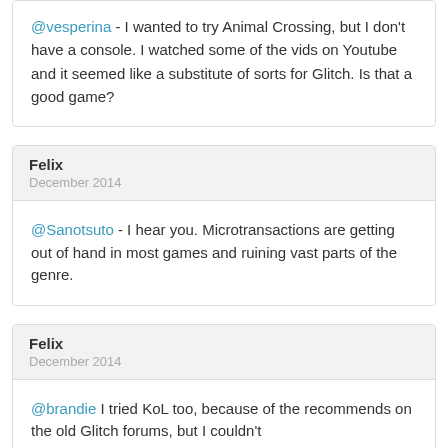@vesperina - I wanted to try Animal Crossing, but I don't have a console. I watched some of the vids on Youtube and it seemed like a substitute of sorts for Glitch. Is that a good game?
Felix
December 2014
@Sanotsuto - I hear you. Microtransactions are getting out of hand in most games and ruining vast parts of the genre.
Felix
December 2014
@brandie I tried KoL too, because of the recommends on the old Glitch forums, but I couldn't